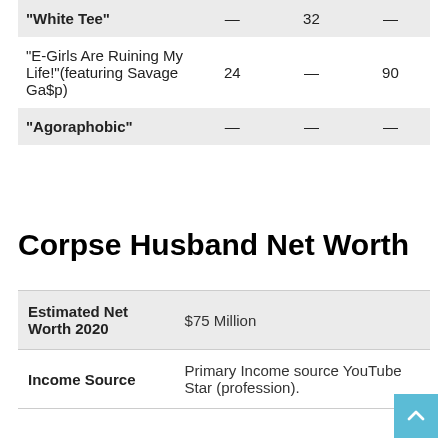| “White Tee” | — | 32 | — |
| “E-Girls Are Ruining My Life!”(featuring Savage Ga$p) | 24 | — | 90 |
| “Agoraphobic” | — | — | — |
Corpse Husband Net Worth
| Estimated Net Worth 2020 | $75 Million |
| Income Source | Primary Income source YouTube Star (profession). |